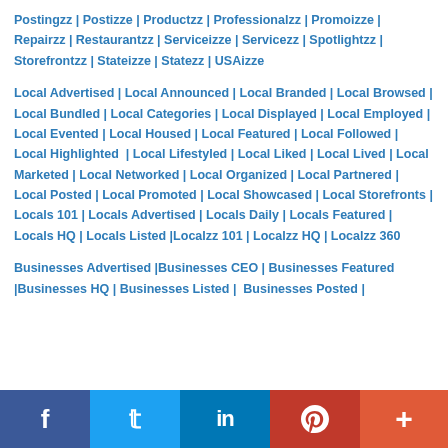Postingzz | Postizze | Productzz | Professionalzz | Promoizze | Repairzz | Restaurantzz | Serviceizze | Servicezz | Spotlightzz | Storefrontzz | Stateizze | Statezz | USAizze
Local Advertised | Local Announced | Local Branded | Local Browsed | Local Bundled | Local Categories | Local Displayed | Local Employed | Local Evented | Local Housed | Local Featured | Local Followed | Local Highlighted | Local Lifestyled | Local Liked | Local Lived | Local Marketed | Local Networked | Local Organized | Local Partnered | Local Posted | Local Promoted | Local Showcased | Local Storefronts | Locals 101 | Locals Advertised | Locals Daily | Locals Featured | Locals HQ | Locals Listed |Localzz 101 | Localzz HQ | Localzz 360
Businesses Advertised |Businesses CEO | Businesses Featured |Businesses HQ | Businesses Listed | Businesses Posted |
[Figure (infographic): Social media share buttons: Facebook (dark blue), Twitter (light blue), LinkedIn (blue), Pinterest (red), More/plus (orange-red)]